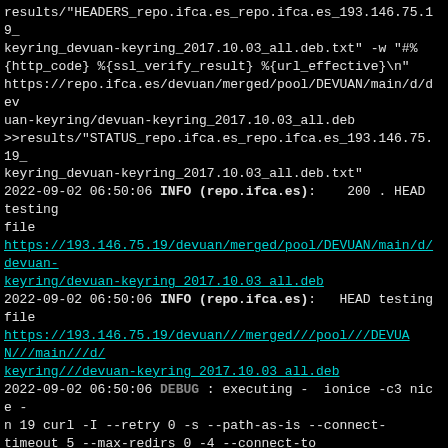results/"HEADERS_repo.ifca.es_repo.ifca.es_193.146.75.19_keyring_devuan-keyring_2017.10.03_all.deb.txt" -w "#%{http_code} %{ssl_verify_result} %{url_effective}\n" https://repo.ifca.es/devuan/merged/pool/DEVUAN/main/d/devuan-keyring/devuan-keyring_2017.10.03_all.deb >>results/"STATUS_repo.ifca.es_repo.ifca.es_193.146.75.19_keyring_devuan-keyring_2017.10.03_all.deb.txt"
2022-09-02 06:50:06 INFO (repo.ifca.es):   200 . HEAD testing file
https://193.146.75.19/devuan/merged/pool/DEVUAN/main/d/devuan-keyring/devuan-keyring_2017.10.03_all.deb
2022-09-02 06:50:06 INFO (repo.ifca.es):  HEAD testing file
https://193.146.75.19/devuan///merged///pool///DEVUAN///main///d/keyring///devuan-keyring_2017.10.03_all.deb
2022-09-02 06:50:06 DEBUG : executing -  ionice -c3 nice -n 19 curl -I --retry 0 -s --path-as-is --connect-timeout 5 --max-redirs 0 -4 --connect-to "repo.ifca.es::193.146.75.19:" -o /dev/null -D results/"HEADERS_repo.ifca.es_repo.ifca.es_193.146.75.19_keyring___devuan-keyring_2017.10.03_all.deb.txt" -w "#%{http_code} %{ssl_verify_result} %{url_effective}\n" https://repo.ifca.es/devuan///merged///pool///DEVUAN///main/keyring///devuan-keyring_2017.10.03_all.deb >>results/"STATUS_repo.ifca.es_repo.ifca.es_193.146.75.19_keyring___devuan-keyring_2017.10.03_all.deb.txt"
2022-09-02 06:50:06 INFO (repo.ifca.es):   200 . HEAD testing file
https://193.146.75.19/devuan///merged///pool///DEVUAN///main/4...